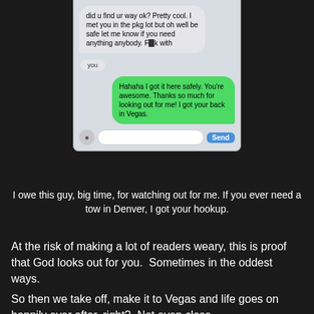[Figure (screenshot): A smartphone text message conversation screenshot. A received message bubble (gray) reads: 'did u find ur way ok? Pretty cool. I met you in the pkg lot but oh well be safe let me know if you need anything anybody. F**k with you'. A sent message bubble (green) reads: 'Hahaha I got it here safely. You're awesome. Thanks so much for looking out for me! I got your back in Vegas.' The bottom shows a text input bar with a Send button.]
I owe this guy, big time, for watching out for me. If you ever need a tow in Denver, I got your hookup.
At the risk of making a lot of readers weary, this is proof that God looks out for you.  Sometimes in the oddest ways.
So then we take off, make it to Vegas and life goes on happily ever after, right?  Not even close.